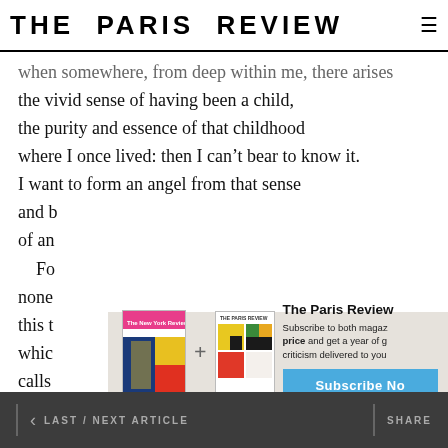THE PARIS REVIEW
when somewhere, from deep within me, there arises
the vivid sense of having been a child,
the purity and essence of that childhood
where I once lived: then I can’t bear to know it.
I want to form an angel from that sense
and b[…]
of an[…]
	Fo[…]
none[…]
this t[…]
whic[…]
calls[…]
Show[…]
Who[…]
but only, now and then, will catch itself
[Figure (screenshot): Subscription overlay for The Paris Review and The New Yorker showing two magazine covers, a plus sign, promotional text, and a Subscribe Now button]
< LAST / NEXT ARTICLE    SHARE